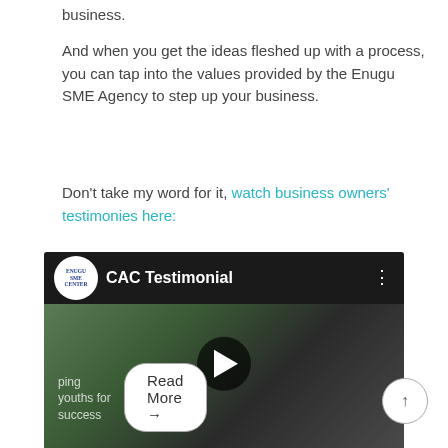business.
And when you get the ideas fleshed up with a process, you can tap into the values provided by the Enugu SME Agency to step up your business.
Don't take my word for it, watch business owners' testimonies here:
[Figure (screenshot): YouTube-style video thumbnail showing a CAC Testimonial video from Enugu SME Center. A man in a white shirt holds a document. The video has a play button in the center.]
Read More →